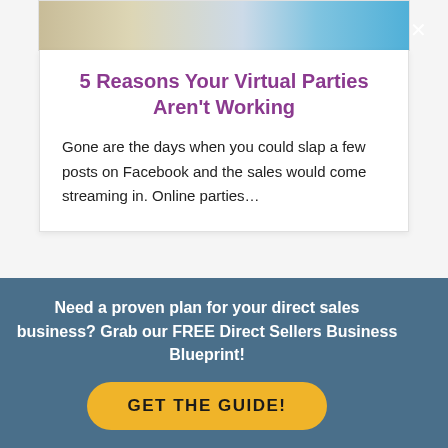[Figure (photo): Top portion of a card showing a hand holding a phone with teal earbuds on white surface - only bottom edge visible]
5 Reasons Your Virtual Parties Aren't Working
Gone are the days when you could slap a few posts on Facebook and the sales would come streaming in. Online parties…
[Figure (photo): Partial view of people holding colorful cocktail drinks with straws at a social gathering]
Need a proven plan for your direct sales business? Grab our FREE Direct Sellers Business Blueprint!
GET THE GUIDE!